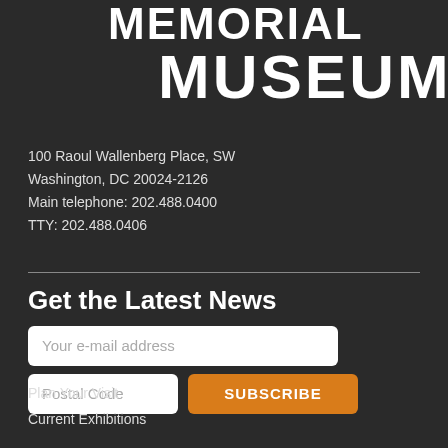MEMORIAL MUSEUM
100 Raoul Wallenberg Place, SW
Washington, DC 20024-2126
Main telephone: 202.488.0400
TTY: 202.488.0406
Get the Latest News
Your e-mail address
Postal Code
SUBSCRIBE
Plan Your Visit
Current Exhibitions